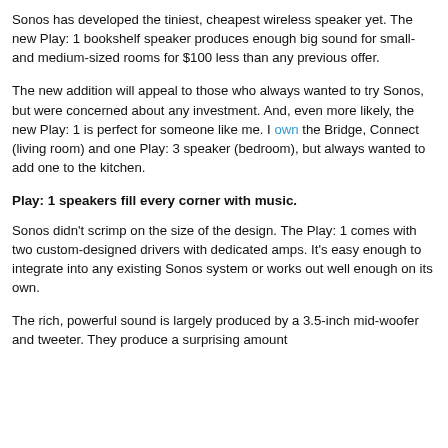Sonos has developed the tiniest, cheapest wireless speaker yet. The new Play: 1 bookshelf speaker produces enough big sound for small- and medium-sized rooms for $100 less than any previous offer.
The new addition will appeal to those who always wanted to try Sonos, but were concerned about any investment. And, even more likely, the new Play: 1 is perfect for someone like me. I own the Bridge, Connect (living room) and one Play: 3 speaker (bedroom), but always wanted to add one to the kitchen.
Play: 1 speakers fill every corner with music.
Sonos didn't scrimp on the size of the design. The Play: 1 comes with two custom-designed drivers with dedicated amps. It's easy enough to integrate into any existing Sonos system or works out well enough on its own.
The rich, powerful sound is largely produced by a 3.5-inch mid-woofer and tweeter. They produce a surprising amount